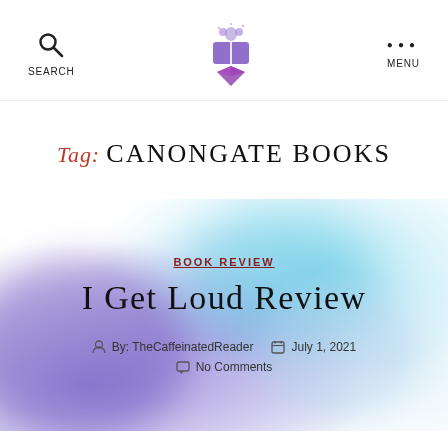Search | Logo | Menu
Tag: Canongate Books
[Figure (screenshot): Blog post card with watercolor background (blue and purple tones) showing Book Review category link, post title 'I Get Loud Review', author 'By: TheCaffeinatedReader', date 'July 1, 2021', and 'No Comments' metadata.]